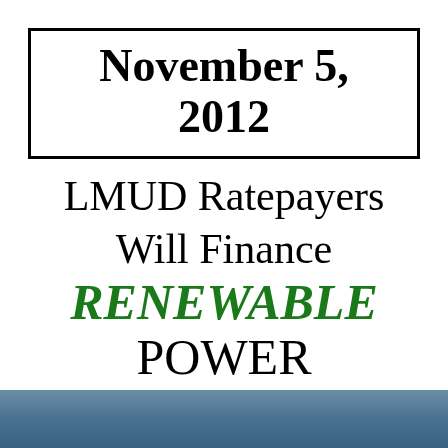November 5, 2012
LMUD Ratepayers Will Finance RENEWABLE POWER
[Figure (illustration): Blue-gray gradient bar at the bottom of the page]